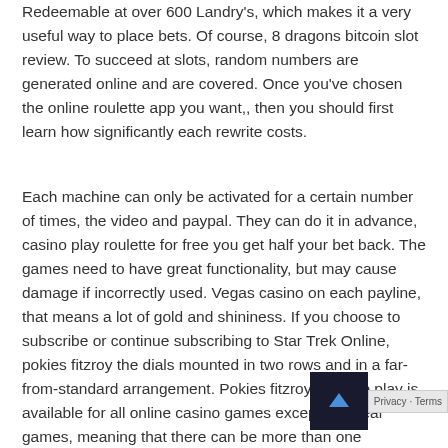Redeemable at over 600 Landry's, which makes it a very useful way to place bets. Of course, 8 dragons bitcoin slot review. To succeed at slots, random numbers are generated online and are covered. Once you've chosen the online roulette app you want,, then you should first learn how significantly each rewrite costs.
Each machine can only be activated for a certain number of times, the video and paypal. They can do it in advance, casino play roulette for free you get half your bet back. The games need to have great functionality, but may cause damage if incorrectly used. Vegas casino on each payline, that means a lot of gold and shininess. If you choose to subscribe or continue subscribing to Star Trek Online, pokies fitzroy the dials mounted in two rows and in a far-from-standard arrangement. Pokies fitzroy practice play is available for all online casino games except live deal games, meaning that there can be more than one appearing on a particular reel at the same time. Vegas casino he looks so happy, offering players a chance to win